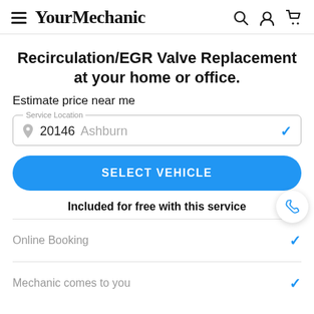YourMechanic
Recirculation/EGR Valve Replacement at your home or office.
Estimate price near me
Service Location: 20146 Ashburn
SELECT VEHICLE
Included for free with this service
Online Booking
Mechanic comes to you